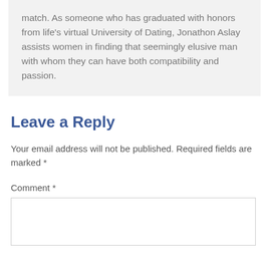match. As someone who has graduated with honors from life's virtual University of Dating, Jonathon Aslay assists women in finding that seemingly elusive man with whom they can have both compatibility and passion.
Leave a Reply
Your email address will not be published. Required fields are marked *
Comment *